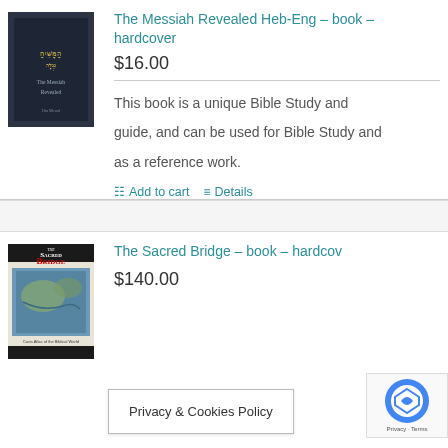[Figure (photo): Book cover of The Messiah Revealed Heb-Eng hardcover, dark navy/black cover]
The Messiah Revealed Heb-Eng – book – hardcover
$16.00
This book is a unique Bible Study and guide, and can be used for Bible Study and as a reference work.
Add to cart   Details
[Figure (photo): Book cover of The Sacred Bridge hardcover, showing a map of the biblical world]
The Sacred Bridge – book – hardcov
$140.00
Privacy & Cookies Policy